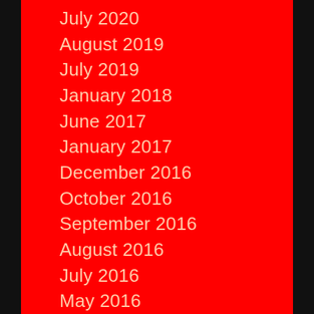July 2020
August 2019
July 2019
January 2018
June 2017
January 2017
December 2016
October 2016
September 2016
August 2016
July 2016
May 2016
April 2016
March 2016
February 2016
January 2016